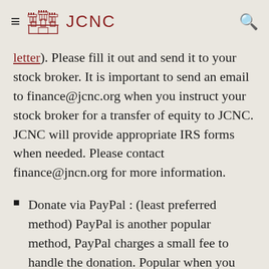≡ JCNC 🔍
letter). Please fill it out and send it to your stock broker. It is important to send an email to finance@jcnc.org when you instruct your stock broker for a transfer of equity to JCNC. JCNC will provide appropriate IRS forms when needed. Please contact finance@jncn.org for more information.
Donate via PayPal : (least preferred method) PayPal is another popular method, PayPal charges a small fee to handle the donation. Popular when you use a credit card to donate. You do not need a PayPal account in order to